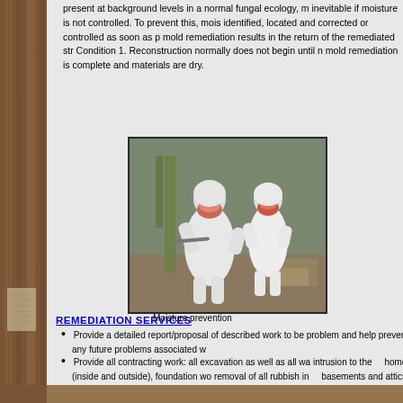present at background levels in a normal fungal ecology, m inevitable if moisture is not controlled. To prevent this, mois identified, located and corrected or controlled as soon as p mold remediation results in the return of the remediated str Condition 1. Reconstruction normally does not begin until n mold remediation is complete and materials are dry.
[Figure (photo): Two workers in white Tyvek hazmat suits and respirators performing mold remediation work in an enclosed space.]
REMEDIATION SERVICES
Moisture prevention
Provide a detailed report/proposal of described work to be problem and help prevent any future problems associated w
Provide all contracting work: all excavation as well as all wa intrusion to the    home (inside and outside), foundation wo removal of all rubbish in    basements and attics, work in cr